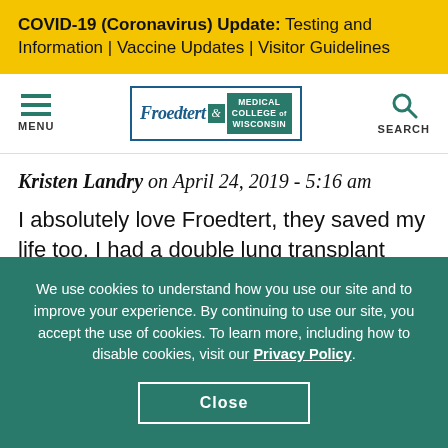COVID-19 (Coronavirus) Update: Testing and Information | Vaccine Updates | Visitor Guidelines
[Figure (logo): Froedtert & Medical College of Wisconsin logo with hamburger menu icon and search icon]
Kristen Landry on April 24, 2019 - 5:16 am
I absolutely love Froedtert, they saved my life too. I had a double lung transplant 12/16/18- The doctors and nurses are wonderful. So awesome to be
We use cookies to understand how you use our site and to improve your experience. By continuing to use our site, you accept the use of cookies. To learn more, including how to disable cookies, visit our Privacy Policy.
Close